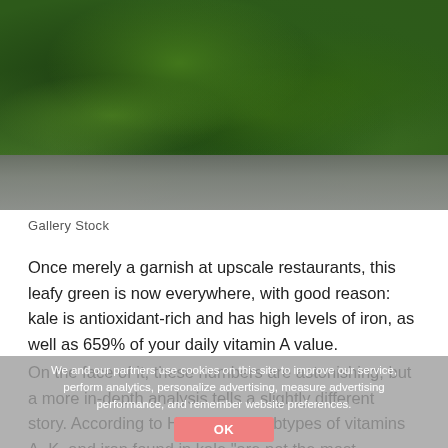[Figure (photo): Close-up photo of crispy kale chips on a dark plate/tray, with dark green, textured kale leaves filling the frame. The plate has a gray/silver rim visible at the bottom.]
Gallery Stock
Once merely a garnish at upscale restaurants, this leafy green is now everywhere, with good reason: kale is antioxidant-rich and has high levels of iron, as well as 659% of your daily vitamin A value.
On the face of it, these numbers are astonishing, but a more in-depth analysis tells a slightly different story. According to Harney, the subtypes of vitamins A, K, and iron found in kale “are not the most beneficial compared to other sources,” such as broccoli or brussel sprouts. It